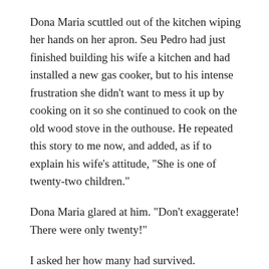Dona Maria scuttled out of the kitchen wiping her hands on her apron. Seu Pedro had just finished building his wife a kitchen and had installed a new gas cooker, but to his intense frustration she didn’t want to mess it up by cooking on it so she continued to cook on the old wood stove in the outhouse. He repeated this story to me now, and added, as if to explain his wife’s attitude, “She is one of twenty-two children.”
Dona Maria glared at him. “Don’t exaggerate! There were only twenty!”
I asked her how many had survived.
“Half,” she said. “Only the girls, but thanks be to God they all have husbands.”
I told her I was sorry about Marcus and asked what he would